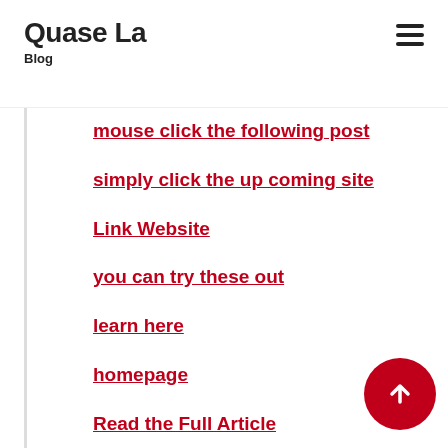Quase La
Blog
mouse click the following post
simply click the up coming site
Link Website
you can try these out
learn here
homepage
Read the Full Article
simply click the following website page
more..
Find more info